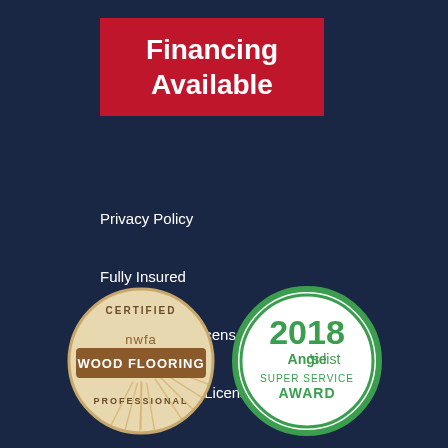Financing Available
Privacy Policy
Fully Insured
Rhode Island License # 25742
Massachusetts License # 171035
[Figure (logo): NWFA Certified Wood Flooring Professional badge - circular badge with cream/tan background, brown banner reading WOOD FLOORING, text CERTIFIED at top, nwfa in center, PROFESSIONAL at bottom with sunburst pattern]
[Figure (logo): Angie's List 2018 Super Service Award badge - circular green and white badge with 2018 in large text, Angie's list logo, and SUPER SERVICE AWARD text]